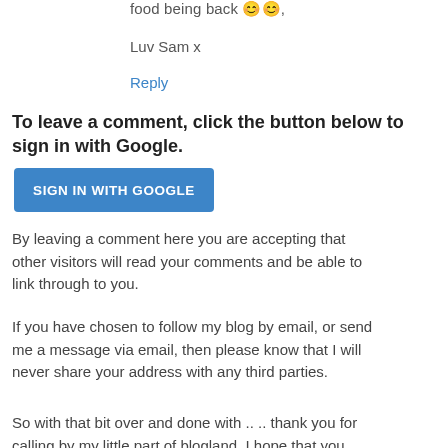food being back 😊😊,
Luv Sam x
Reply
To leave a comment, click the button below to sign in with Google.
SIGN IN WITH GOOGLE
By leaving a comment here you are accepting that other visitors will read your comments and be able to link through to you.
If you have chosen to follow my blog by email, or send me a message via email, then please know that I will never share your address with any third parties.
So with that bit over and done with .. .. thank you for calling by my little part of blogland. I hope that you enjoyed your visit, and if I made you smile at